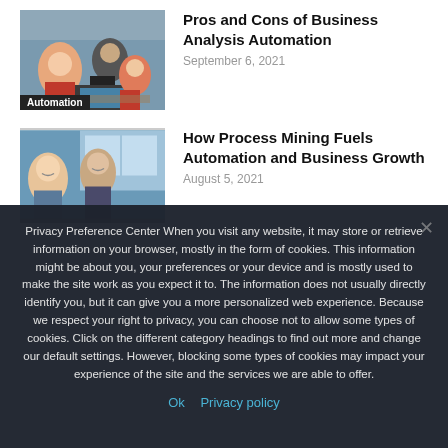[Figure (photo): Business meeting scene with people around a table with laptops, category label 'Automation' at bottom]
Pros and Cons of Business Analysis Automation
September 6, 2021
[Figure (photo): People in a modern office setting, smiling and collaborating]
How Process Mining Fuels Automation and Business Growth
August 5, 2021
Privacy Preference Center When you visit any website, it may store or retrieve information on your browser, mostly in the form of cookies. This information might be about you, your preferences or your device and is mostly used to make the site work as you expect it to. The information does not usually directly identify you, but it can give you a more personalized web experience. Because we respect your right to privacy, you can choose not to allow some types of cookies. Click on the different category headings to find out more and change our default settings. However, blocking some types of cookies may impact your experience of the site and the services we are able to offer.
Ok   Privacy policy